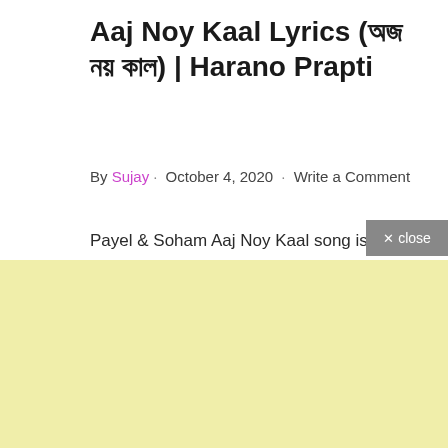Aaj Noy Kaal Lyrics (অজ নয় কাল) | Harano Prapti
By Sujay · October 4, 2020 · Write a Comment
Payel & Soham Aaj Noy Kaal song is sung
[Figure (other): Advertisement block with light yellow background]
× close